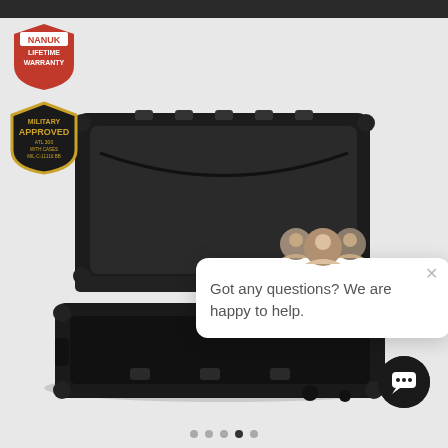[Figure (photo): NANUK lifetime warranty badge - red shield with NANUK brand name]
[Figure (photo): Military Approved badge - gold/dark shield with text]
[Figure (photo): Open black NANUK protective hard case shown from above on grey background, lid open revealing empty interior]
[Figure (screenshot): Chat widget popup with three customer service avatars and text 'Got any questions? We are happy to help.' with X close button]
[Figure (photo): Dark circular chat button icon in bottom right corner]
[Figure (other): Carousel pagination dots: 5 dots with 4th dot active (filled dark)]